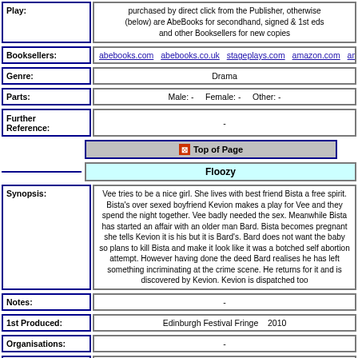| Play: | purchased by direct click from the Publisher, otherwise (below) are AbeBooks for secondhand, signed & 1st eds and other Booksellers for new copies |
| Booksellers: | abebooks.com  abebooks.co.uk  stageplays.com  amazon.com  amazon.co.uk  am... |
| Genre: | Drama |
| Parts: | Male: -   Female: -   Other: - |
| Further Reference: | - |
Top of Page
Floozy
Synopsis: Vee tries to be a nice girl. She lives with best friend Bista a free spirit. Bista's over sexed boyfriend Kevion makes a play for Vee and they spend the night together. Vee badly needed the sex. Meanwhile Bista has started an affair with an older man Bard. Bista becomes pregnant she tells Kevion it is his but it is Bard's. Bard does not want the baby so plans to kill Bista and make it look like it was a botched self abortion attempt. However having done the deed Bard realises he has left something incriminating at the crime scene. He returns for it and is discovered by Kevion. Kevion is dispatched too
| Notes: | - |
| 1st Produced: | Edinburgh Festival Fringe    2010 |
| Organisations: | - |
| 1st Published: | - |
| Music: | - |